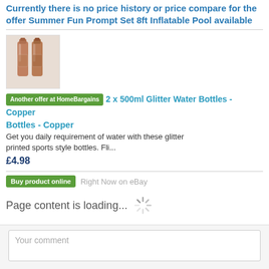Currently there is no price history or price compare for the offer Summer Fun Prompt Set 8ft Inflatable Pool available
[Figure (photo): Two copper glitter water bottles on a white background]
Another offer at HomeBargains  2 x 500ml Glitter Water Bottles - Copper
Get you daily requirement of water with these glitter printed sports style bottles. Fli...
£4.98
Buy product online  Right Now on eBay
Page content is loading...
Your comment